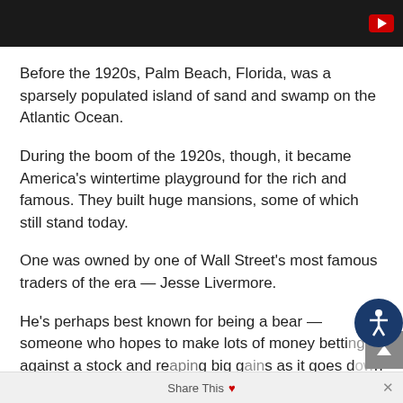[Figure (other): Dark video player bar with YouTube play button in top-right corner]
Before the 1920s, Palm Beach, Florida, was a sparsely populated island of sand and swamp on the Atlantic Ocean.
During the boom of the 1920s, though, it became America's wintertime playground for the rich and famous. They built huge mansions, some of which still stand today.
One was owned by one of Wall Street's most famous traders of the era — Jesse Livermore.
He's perhaps best known for being a bear — someone who hopes to make lots of money betting against a stock and reaping big gains as it goes down in value.
Share This